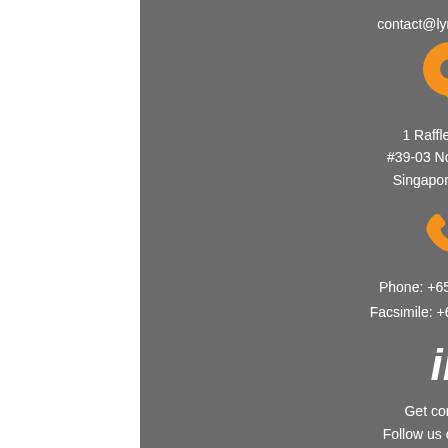contact@lymon.com.sg
[Figure (illustration): Orange location pin icon]
1 Raffles Quay,
#39-03 North Tower,
Singapore 048583
[Figure (illustration): Orange telephone handset icon]
Phone: +65 6709 4110
Facsimile: +65 6709 4119
[Figure (illustration): LinkedIn 'in' logo icon in white]
Get connected
Follow us on Linkedin
©2020 All Rights Reserved Lymon Pte. Ltd.
created by Verity Consulting